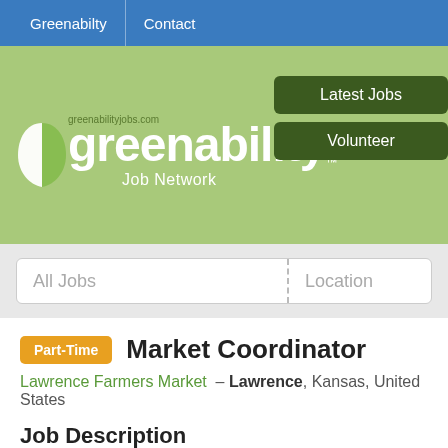Greenabilty | Contact
[Figure (logo): Greenability Job Network logo with leaf icon on green banner background, with Latest Jobs and Volunteer buttons]
All Jobs | Location
Part-Time  Market Coordinator
Lawrence Farmers Market – Lawrence, Kansas, United States
Job Description
MARKET COORDINATOR FOR LAWRENCE FARMERS MARKET
Job description: